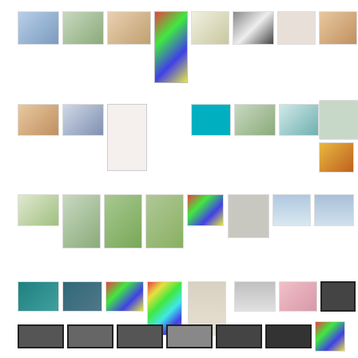[Figure (photo): Grid of thumbnail photographs arranged in 5 rows, showing various artworks, landscapes, sculptures, and photographs in a gallery/collection layout]
[Figure (photo): Row 1: 8 thumbnail photos including crystal/chandelier, interior space, flowers/yellow, colorful grid artwork, fabric/cloth, text panel, white shapes, desert landscape]
[Figure (photo): Row 1 extra: tall colorful grid artwork panel extending below]
[Figure (photo): Row 2: 8 thumbnail photos including landscape, misty scene, exhibition poster, cyan lit room, gallery interior, blue gallery, circular spider artwork, orange triangle sculpture]
[Figure (photo): Row 3: 8 thumbnail photos including cityscape, green nature figure (3 variants), colorful cluster, cracked earth aerial, ocean aerial, ocean aerial 2]
[Figure (photo): Row 4: 8 thumbnail photos including coastal rocks, coastal rocks 2, colorful minerals, rainbow beads/jewelry, desert walk, pier B&W, pink figure, framed B&W artwork]
[Figure (photo): Row 5: 8 thumbnail photos including 6 framed B&W panoramic photographs and 2 colorful circular pattern artworks]